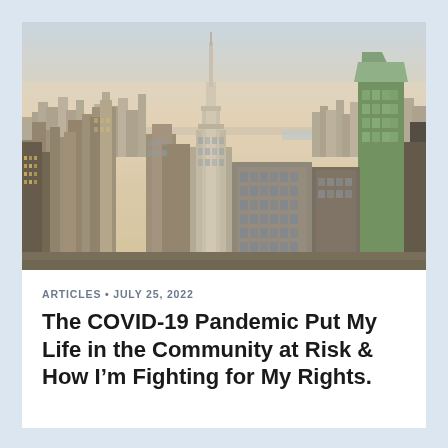[Figure (photo): Aerial daytime photograph of the New York City skyline featuring the Empire State Building prominently in the center, with dense urban skyscrapers, a warm hazy sky, and a body of water visible in the background.]
ARTICLES • JULY 25, 2022
The COVID-19 Pandemic Put My Life in the Community at Risk & How I'm Fighting for My Rights.